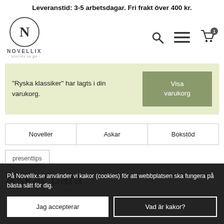Leveranstid: 3-5 arbetsdagar. Fri frakt över 400 kr.
[Figure (logo): Novellix logo — circle with N, text NOVELLIX, tagline 'stories to go']
"Ryska klassiker" har lagts i din varukorg.
Visa varukorg
Noveller
Askar
Bokstöd
presenttips
Askar para
På Novellix.se använder vi kakor (cookies) för att webbplatsen ska fungera på bästa sätt för dig.
Jag accepterar
Vad är kakor?